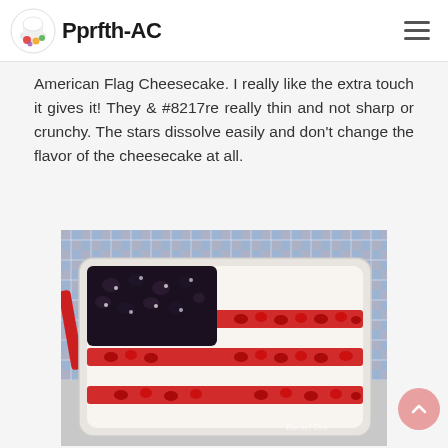Pprfth-AC
American Flag Cheesecake. I really like the extra touch it gives it! They & #8217re really thin and not sharp or crunchy. The stars dissolve easily and don't change the flavor of the cheesecake at all.
[Figure (photo): American Flag Cheesecake in a rectangular baking dish, decorated with red cherry topping in stripes and a dark blueberry topping square in the upper left corner, styled to look like the American flag.]